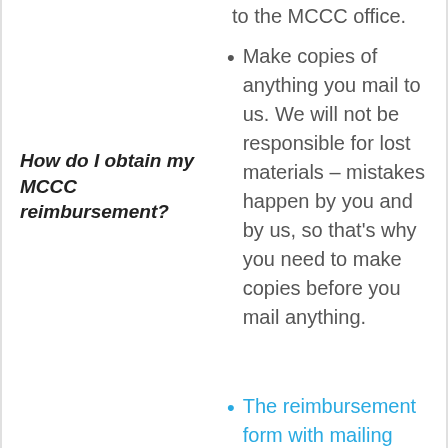to the MCCC office.
How do I obtain my MCCC reimbursement?
Make copies of anything you mail to us. We will not be responsible for lost materials – mistakes happen by you and by us, so that's why you need to make copies before you mail anything.
The reimbursement form with mailing